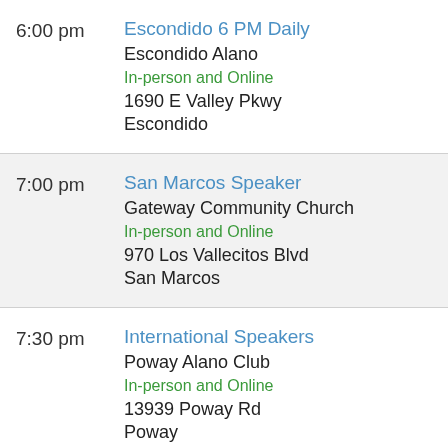6:00 pm — Escondido 6 PM Daily, Escondido Alano, In-person and Online, 1690 E Valley Pkwy, Escondido
7:00 pm — San Marcos Speaker, Gateway Community Church, In-person and Online, 970 Los Vallecitos Blvd, San Marcos
7:30 pm — International Speakers, Poway Alano Club, In-person and Online, 13939 Poway Rd, Poway
Proudly powered by WordPress